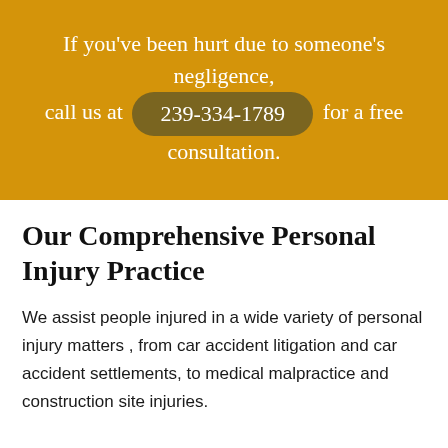If you've been hurt due to someone's negligence, call us at 239-334-1789 for a free consultation.
Our Comprehensive Personal Injury Practice
We assist people injured in a wide variety of personal injury matters , from car accident litigation and car accident settlements, to medical malpractice and construction site injuries.